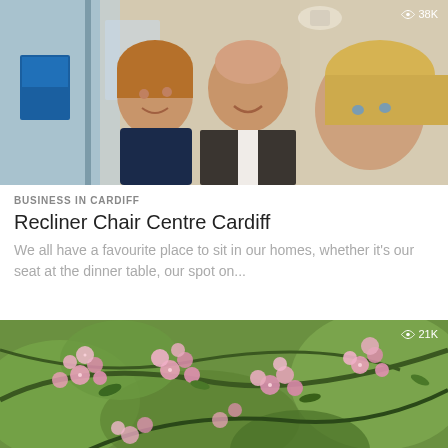[Figure (photo): Three smiling people (two women and one man) posing indoors in what appears to be a shop or office. A view count badge showing 38K appears in the top right corner.]
BUSINESS IN CARDIFF
Recliner Chair Centre Cardiff
We all have a favourite place to sit in our homes, whether it's our seat at the dinner table, our spot on...
[Figure (photo): Close-up of pink cherry blossom flowers on branches with green leaves and blurred background. A view count badge showing 21K appears in the top right corner.]